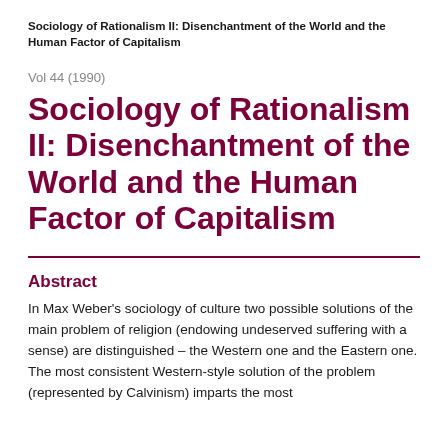Sociology of Rationalism II: Disenchantment of the World and the Human Factor of Capitalism
Vol 44 (1990)
Sociology of Rationalism II: Disenchantment of the World and the Human Factor of Capitalism
Abstract
In Max Weber's sociology of culture two possible solutions of the main problem of religion (endowing undeserved suffering with a sense) are distinguished – the Western one and the Eastern one. The most consistent Western-style solution of the problem (represented by Calvinism) imparts the most